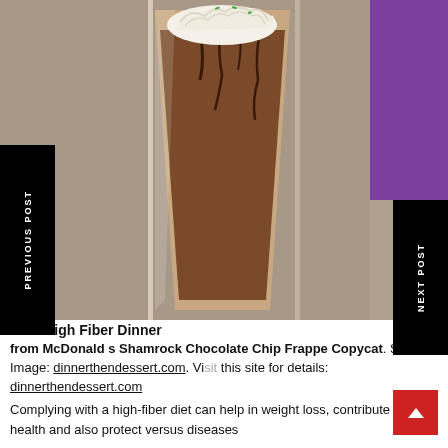[Figure (photo): A chocolate milkshake/frappe in a tall glass, topped with whipped cream, chocolate drizzle, and green sprinkles. Purple background visible on the right side. Navigation sidebars: black 'PREVIOUS POST' on left, black 'NEXT POST' on right.]
Best High Fiber Dinner from McDonald s Shamrock Chocolate Chip Frappe Copycat. Source Image: dinnerthendessert.com. Visit this site for details: dinnerthendessert.com
Complying with a high-fiber diet can help in weight loss, contribute to heart health and also protect versus diseases